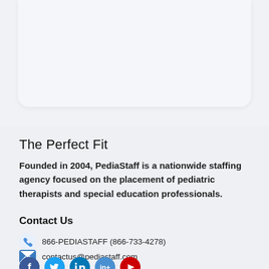The Perfect Fit
Founded in 2004, PediaStaff is a nationwide staffing agency focused on the placement of pediatric therapists and special education professionals.
Contact Us
866-PEDIASTAFF (866-733-4278)
contactus@pediastaff.com